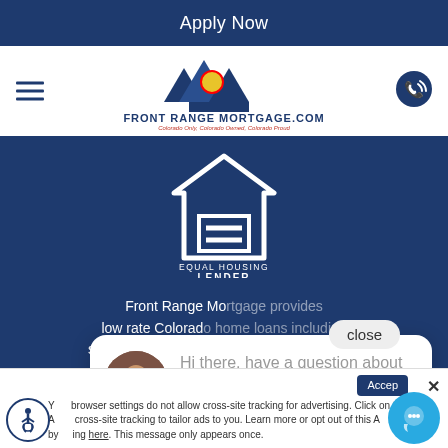Apply Now
[Figure (logo): Front Range Mortgage.com logo with Colorado mountains and state flag circle. Text: FRONT RANGE MORTGAGE.COM, Colorado Only, Colorado Owned, Colorado Proud]
[Figure (logo): Equal Housing Lender logo - white house outline with equal sign, text EQUAL HOUSING LENDER]
Front Range Mo... low rate Colorado... second mort... personalized fa... Denver and front range area including Aurora, Arvada,
Denver, Lakewood, Boulder, Fort Collins &...
Hi there, have a question about mortgages? Text us here.
close
Your browser settings do not allow cross-site tracking for advertising. Click on this ... Allow cross-site tracking to tailor ads to you. Learn more or opt out of this A... king by ... ing here. This message only appears once.